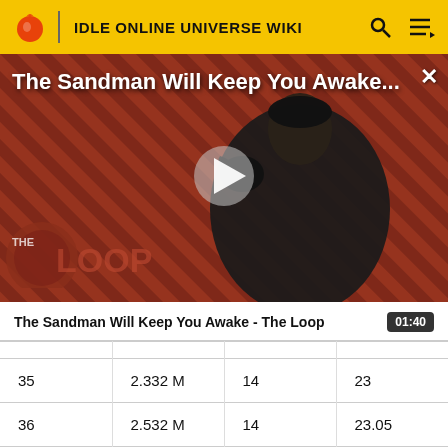IDLE ONLINE UNIVERSE WIKI
[Figure (screenshot): Video thumbnail showing a dark-cloaked figure with a raven on striped red/dark background. Title overlay reads 'The Sandman Will Keep You Awake...' with a play button in the center and The Loop logo in the lower left. Close (X) button top right.]
The Sandman Will Keep You Awake - The Loop
|  |  |  |  |
| --- | --- | --- | --- |
| 35 | 2.332 M | 14 | 23 |
| 36 | 2.532 M | 14 | 23.05 |